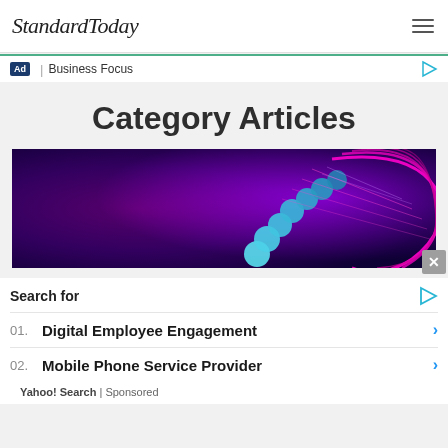StandardToday
Ad | Business Focus
Category Articles
[Figure (photo): Abstract digital image showing glowing blue spheres and pink/purple neon wave structures on a dark background]
Search for
01. Digital Employee Engagement
02. Mobile Phone Service Provider
Yahoo! Search | Sponsored